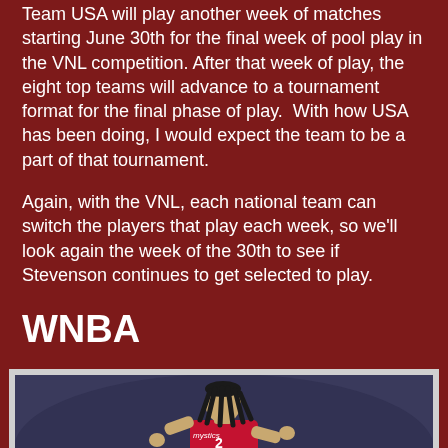Team USA will play another week of matches starting June 30th for the final week of pool play in the VNL competition. After that week of play, the eight top teams will advance to a tournament format for the final phase of play. With how USA has been doing, I would expect the team to be a part of that tournament.
Again, with the VNL, each national team can switch the players that play each week, so we'll look again the week of the 30th to see if Stevenson continues to get selected to play.
WNBA
[Figure (photo): A female basketball player wearing a red Washington Mystics jersey with number 2, with dreadlock hair, in an action pose on the court.]